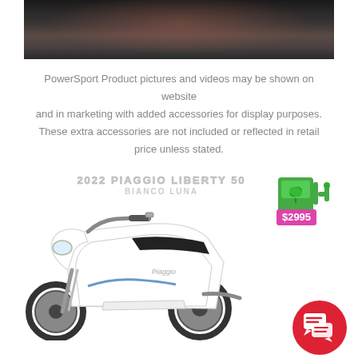[Figure (photo): Dark photo showing a person in background, dimly lit scene]
PowerSport Product pictures and videos may be shown on website and in marketing with added accessories for display purposes. These extra accessories are not included or reflected in retail price unless stated.
[Figure (photo): 2022 Piaggio Liberty 50 Bianco Luna white scooter with price badge showing $2995 and a green eco fuel pump icon. Red chat bubble icon in bottom right corner.]